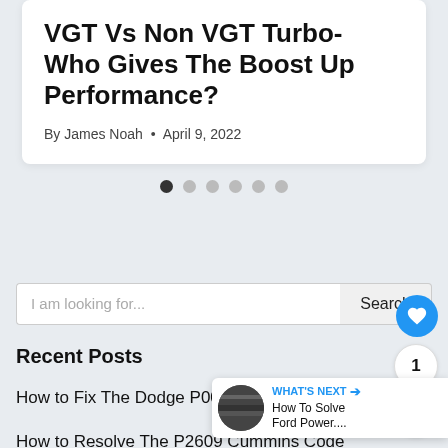VGT Vs Non VGT Turbo- Who Gives The Boost Up Performance?
By James Noah • April 9, 2022
[Figure (other): Carousel pagination dots — 6 dots, first is dark/active, rest are grey]
[Figure (other): Search bar with placeholder 'I am looking for...' and a Search button]
Recent Posts
How to Fix The Dodge P0087 Cummins Error Code
How to Resolve The P2609 Cummins Code
[Figure (other): WHAT'S NEXT banner: How To Solve Ford Power....]